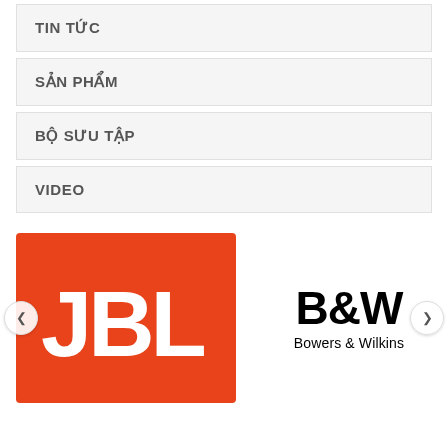TIN TỨC
SẢN PHẨM
BỘ SƯU TẬP
VIDEO
[Figure (logo): JBL brand logo: white JBL letters on orange/red background]
[Figure (logo): Bowers & Wilkins brand logo: B&W text with Bowers & Wilkins subtitle in black on white background]